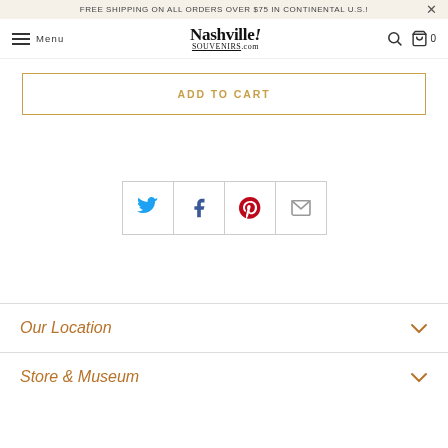FREE SHIPPING ON ALL ORDERS OVER $75 IN CONTINENTAL U.S.!
Nashville! SOUVENIRS.com — Menu, Search, Cart 0
ADD TO CART
[Figure (infographic): Social share buttons: Twitter (blue bird), Facebook (blue f), Pinterest (red p), Email (grey envelope)]
Our Location
Store & Museum